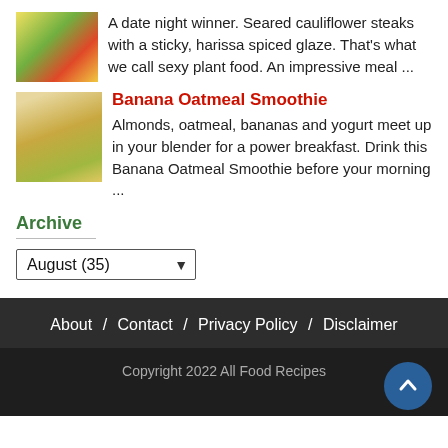A date night winner. Seared cauliflower steaks with a sticky, harissa spiced glaze. That's what we call sexy plant food. An impressive meal ...
[Figure (photo): Food photo thumbnail - colorful dish]
Banana Oatmeal Smoothie
[Figure (photo): Banana oatmeal smoothie in a glass with bananas]
Almonds, oatmeal, bananas and yogurt meet up in your blender for a power breakfast. Drink this Banana Oatmeal Smoothie before your morning ...
Archive
August (35)
About / Contact / Privacy Policy / Disclaimer
Copyright 2022 All Food Recipes